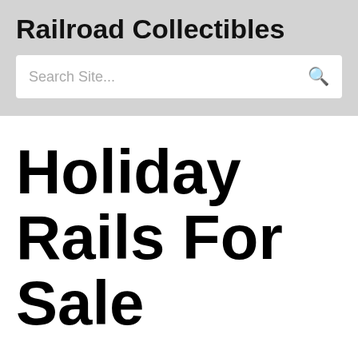Railroad Collectibles
[Figure (screenshot): Search box with placeholder text 'Search Site...' and a search icon on the right]
Holiday Rails For Sale